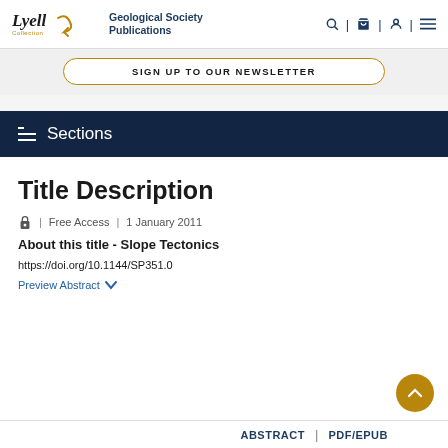Lyell Collection | Geological Society Publications
SIGN UP TO OUR NEWSLETTER
Sections
Title Description
Free Access | 1 January 2011
About this title - Slope Tectonics
https://doi.org/10.1144/SP351.0
Preview Abstract
ABSTRACT | PDF/EPUB